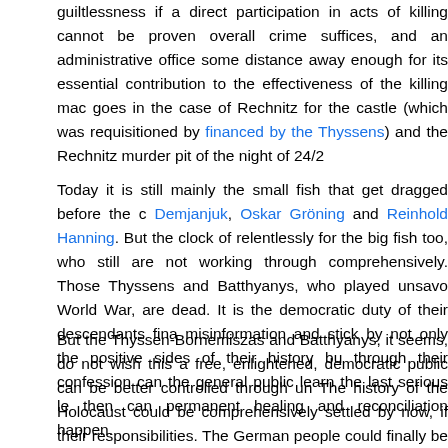guiltlessness if a direct participation in acts of killing cannot be proven overall crime suffices, and an administrative office some distance away enough for its essential contribution to the effectiveness of the killing mac goes in the case of Rechnitz for the castle (which was requisitioned by financed by the Thyssens) and the Rechnitz murder pit of the night of 24/2
Today it is still mainly the small fish that get dragged before the c Demjanjuk, Oskar Gröning and Reinhold Hanning. But the clock of relentlessly for the big fish too, who still are not working through comprehensively. Those Thyssens and Batthyanys, who played unsavo World War, are dead. It is the democratic duty of their descendants fina misinformation and stick by not only the positive sides of their history bu through their confession can the general public learn the last serious le then can permanent healing and reconciliation happen.
But the Thyssen-Bornemiszas and Batthyanys, it seems, do not wish this a free, enlightened, democratic public can be better controlled through un The history of the Holocaust could be comprehensively settled by now, if their responsibilities. The German people could finally be released from a drip of Aufarbeitung which is so bone-grinding and thereby effectively families did now come clean and accepted the fact that our book is an acc record.